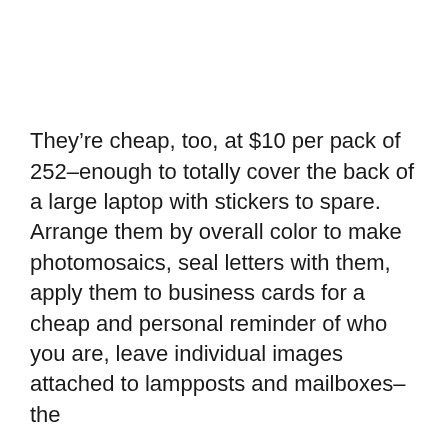They're cheap, too, at $10 per pack of 252–enough to totally cover the back of a large laptop with stickers to spare. Arrange them by overall color to make photomosaics, seal letters with them, apply them to business cards for a cheap and personal reminder of who you are, leave individual images attached to lampposts and mailboxes–the